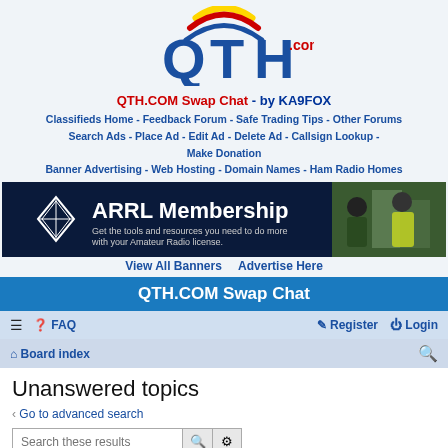[Figure (logo): QTH.com logo with colorful swoosh above large blue QTH letters and .com in red]
QTH.COM Swap Chat - by KA9FOX
Classifieds Home - Feedback Forum - Safe Trading Tips - Other Forums Search Ads - Place Ad - Edit Ad - Delete Ad - Callsign Lookup - Make Donation Banner Advertising - Web Hosting - Domain Names - Ham Radio Homes
[Figure (illustration): ARRL Membership banner advertisement with two men in yellow safety vests and a JOIN NOW button]
View All Banners    Advertise Here
QTH.COM Swap Chat
≡   ❓ FAQ                                                    ✏ Register   ⏻ Login
⌂ Board index                                                                       🔍
Unanswered topics
‹ Go to advanced search
Search these results